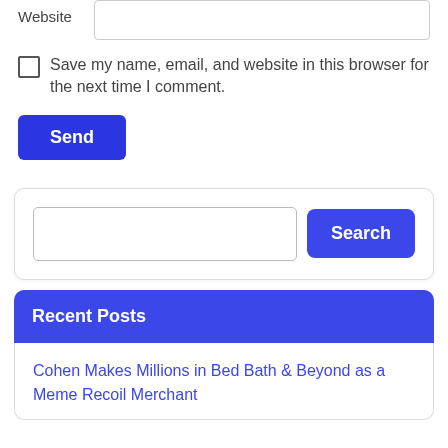Website [input field]
Save my name, email, and website in this browser for the next time I comment.
Send
[Figure (screenshot): Search widget with text input and Search button]
Recent Posts
Cohen Makes Millions in Bed Bath & Beyond as a Meme Recoil Merchant